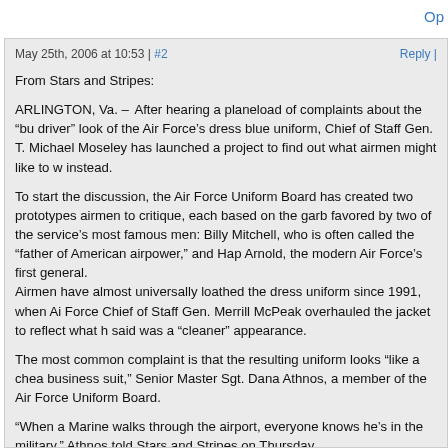Op
May 25th, 2006 at 10:53 | #2   Reply |
From Stars and Stripes:
ARLINGTON, Va. – After hearing a planeload of complaints about the “bu driver” look of the Air Force’s dress blue uniform, Chief of Staff Gen. T. Michael Moseley has launched a project to find out what airmen might like to wear instead.
To start the discussion, the Air Force Uniform Board has created two prototypes for airmen to critique, each based on the garb favored by two of the service’s most famous men: Billy Mitchell, who is often called the “father of American airpower,” and Hap Arnold, the modern Air Force’s first general. Airmen have almost universally loathed the dress uniform since 1991, when Air Force Chief of Staff Gen. Merrill McPeak overhauled the jacket to reflect what he said was a “cleaner” appearance.
The most common complaint is that the resulting uniform looks “like a cheap business suit,” Senior Master Sgt. Dana Athnos, a member of the Air Force Uniform Board.
“When a Marine walks through the airport, everyone knows he’s in the military,” Athnos told Stars and Stripes on Thursday.
“But when [airmen] walk through the airport, people think we’re wearing business suits, or we’re flight attendants – it just doesn’t have a military appearance, compared to the other services.”